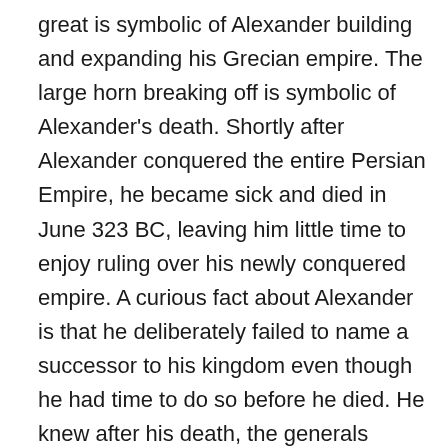great is symbolic of Alexander building and expanding his Grecian empire. The large horn breaking off is symbolic of Alexander's death. Shortly after Alexander conquered the entire Persian Empire, he became sick and died in June 323 BC, leaving him little time to enjoy ruling over his newly conquered empire. A curious fact about Alexander is that he deliberately failed to name a successor to his kingdom even though he had time to do so before he died. He knew after his death, the generals would fight with each other over his empire. He simply remarked that his kingdom should go to the strongest of them. He left it up to fate.